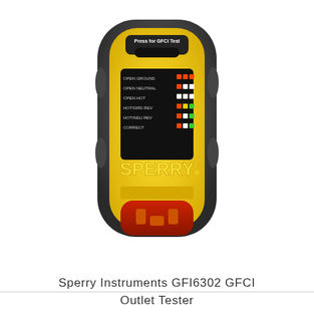[Figure (photo): Photo of a Sperry Instruments GFI6302 GFCI Outlet Tester — a yellow and dark grey device with a black front panel showing LED indicators labeled OPEN GROUND, OPEN NEUTRAL, OPEN HOT, HOT/GRD REV, HOT/NEU REV, CORRECT, and a SPERRY logo in yellow text. The bottom has a red/orange 3-prong outlet plug.]
Sperry Instruments GFI6302 GFCI Outlet Tester